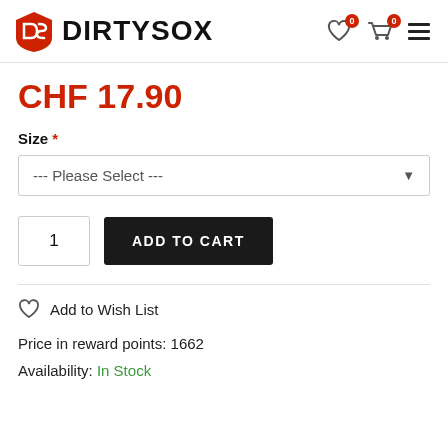DIRTYSOX
CHF 17.90
Size *
--- Please Select ---
1   ADD TO CART
Add to Wish List
Price in reward points: 1662
Availability: In Stock